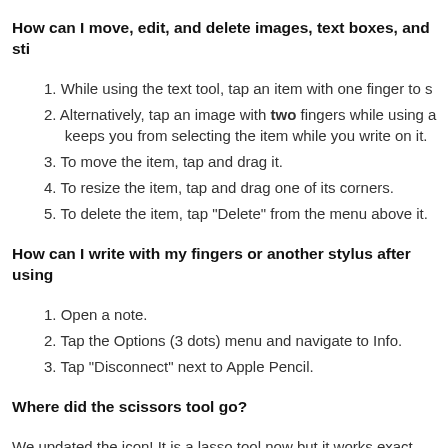How can I move, edit, and delete images, text boxes, and sti
1. While using the text tool, tap an item with one finger to s
2. Alternatively, tap an image with two fingers while using a keeps you from selecting the item while you write on it.
3. To move the item, tap and drag it.
4. To resize the item, tap and drag one of its corners.
5. To delete the item, tap "Delete" from the menu above it.
How can I write with my fingers or another stylus after using
1. Open a note.
2. Tap the Options (3 dots) menu and navigate to Info.
3. Tap "Disconnect" next to Apple Pencil.
Where did the scissors tool go?
We updated the icon! It is a lasso tool now but it works exact before.